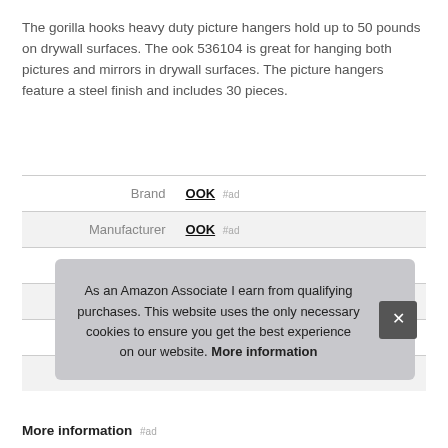The gorilla hooks heavy duty picture hangers hold up to 50 pounds on drywall surfaces. The ook 536104 is great for hanging both pictures and mirrors in drywall surfaces. The picture hangers feature a steel finish and includes 30 pieces.
|  |  |
| --- | --- |
| Brand | OOK #ad |
| Manufacturer | OOK #ad |
| Height | 4.8 Inches |
| Length | 9.9 Inches |
| Width | 5.9 Inches |
| P |  |
As an Amazon Associate I earn from qualifying purchases. This website uses the only necessary cookies to ensure you get the best experience on our website. More information
More information